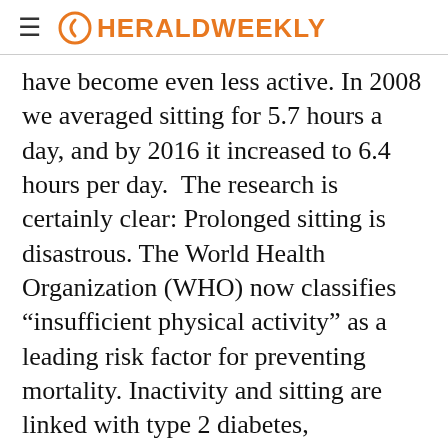HERALDWEEKLY
have become even less active. In 2008 we averaged sitting for 5.7 hours a day, and by 2016 it increased to 6.4 hours per day.  The research is certainly clear: Prolonged sitting is disastrous. The World Health Organization (WHO) now classifies “insuﬃcient physical activity” as a leading risk factor for preventing mortality. Inactivity and sitting are linked with type 2 diabetes, cardiovascular disease, depression, cancer, and Alzheimer’s disease